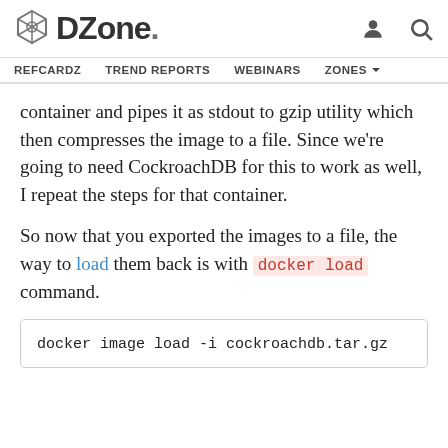DZone. REFCARDZ  TREND REPORTS  WEBINARS  ZONES
container and pipes it as stdout to gzip utility which then compresses the image to a file. Since we're going to need CockroachDB for this to work as well, I repeat the steps for that container.
So now that you exported the images to a file, the way to load them back is with docker load command.
docker image load -i cockroachdb.tar.gz